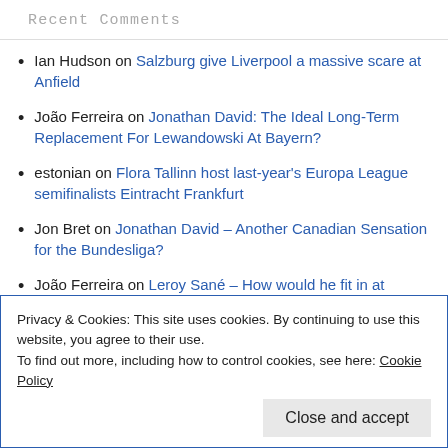Recent Comments
Ian Hudson on Salzburg give Liverpool a massive scare at Anfield
João Ferreira on Jonathan David: The Ideal Long-Term Replacement For Lewandowski At Bayern?
estonian on Flora Tallinn host last-year's Europa League semifinalists Eintracht Frankfurt
Jon Bret on Jonathan David – Another Canadian Sensation for the Bundesliga?
João Ferreira on Leroy Sané – How would he fit in at Bayern?
Privacy & Cookies: This site uses cookies. By continuing to use this website, you agree to their use.
To find out more, including how to control cookies, see here: Cookie Policy
Close and accept